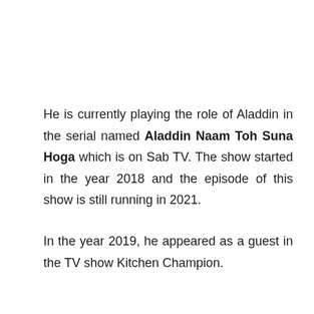He is currently playing the role of Aladdin in the serial named Aladdin Naam Toh Suna Hoga which is on Sab TV. The show started in the year 2018 and the episode of this show is still running in 2021.
In the year 2019, he appeared as a guest in the TV show Kitchen Champion.